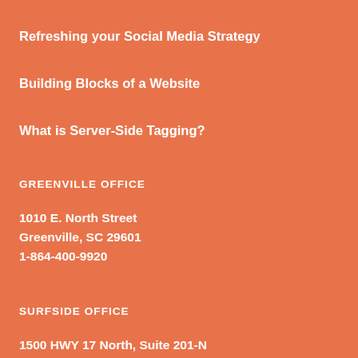Refreshing your Social Media Strategy
Building Blocks of a Website
What is Server-Side Tagging?
GREENVILLE OFFICE
1010 E. North Street
Greenville, SC 29601
1-864-400-9920
SURFSIDE OFFICE
1500 HWY 17 North, Suite 201-N
Surfside Beach, SC 29575